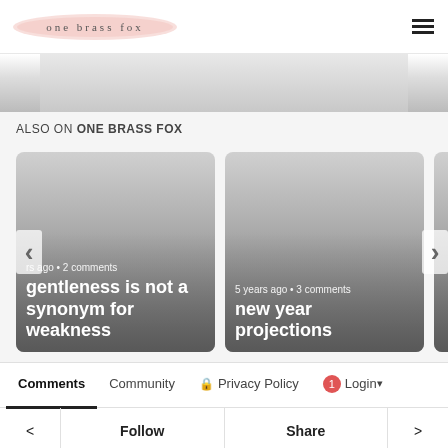one brass fox
[Figure (screenshot): Gray hero image strip at top of page]
ALSO ON ONE BRASS FOX
[Figure (screenshot): Card carousel with two visible cards and a partially visible third. Left card: '...rs ago • 2 comments / gentleness is not a synonym for weakness'. Middle card: '5 years ago • 3 comments / new year projections'. Right card partially visible. Left chevron arrow and right chevron arrow navigation.]
Comments  Community  Privacy Policy  1  Login  |  <  Follow  Share  >